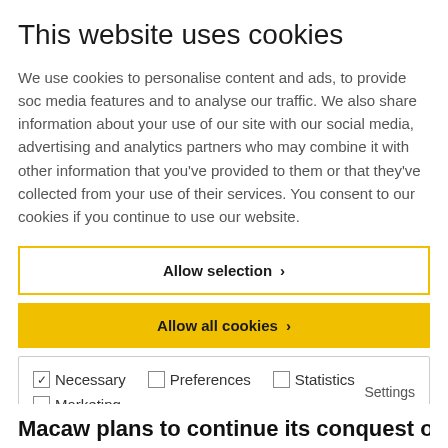This website uses cookies
We use cookies to personalise content and ads, to provide social media features and to analyse our traffic. We also share information about your use of our site with our social media, advertising and analytics partners who may combine it with other information that you've provided to them or that they've collected from your use of their services. You consent to our cookies if you continue to use our website.
Allow selection ›
Allow all cookies ›
✓ Necessary  ☐ Preferences  ☐ Statistics  Settings  ☐ Marketing
Macaw plans to continue its conquest of